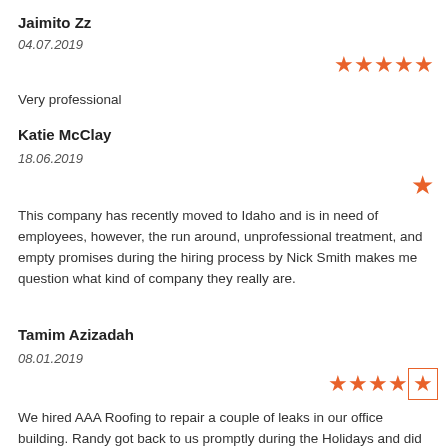Jaimito Zz
04.07.2019
[Figure (other): 5 orange stars rating]
Very professional
Katie McClay
18.06.2019
[Figure (other): 1 orange star rating]
This company has recently moved to Idaho and is in need of employees, however, the run around, unprofessional treatment, and empty promises during the hiring process by Nick Smith makes me question what kind of company they really are.
Tamim Azizadah
08.01.2019
[Figure (other): 4 orange stars rating with box around last stars]
We hired AAA Roofing to repair a couple of leaks in our office building. Randy got back to us promptly during the Holidays and did a roof inspection a few days later. His crew came in a